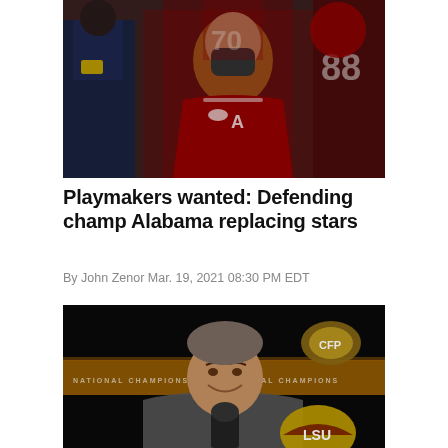[Figure (photo): Alabama football coach Nick Saban wearing a dark face mask and crimson Alabama polo shirt, walking with players and a police officer]
Playmakers wanted: Defending champ Alabama replacing stars
By John Zenor Mar. 19, 2021 08:30 PM EDT
[Figure (photo): A man in a suit smiling at a press conference podium with an LSU helmet and College Football Playoff championship backdrop visible]